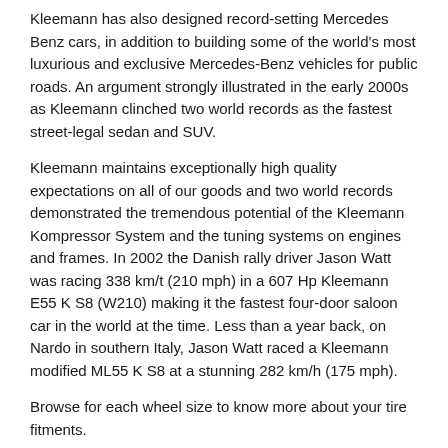Kleemann has also designed record-setting Mercedes Benz cars, in addition to building some of the world's most luxurious and exclusive Mercedes-Benz vehicles for public roads. An argument strongly illustrated in the early 2000s as Kleemann clinched two world records as the fastest street-legal sedan and SUV.
Kleemann maintains exceptionally high quality expectations on all of our goods and two world records demonstrated the tremendous potential of the Kleemann Kompressor System and the tuning systems on engines and frames. In 2002 the Danish rally driver Jason Watt was racing 338 km/t (210 mph) in a 607 Hp Kleemann E55 K S8 (W210) making it the fastest four-door saloon car in the world at the time. Less than a year back, on Nardo in southern Italy, Jason Watt raced a Kleemann modified ML55 K S8 at a stunning 282 km/h (175 mph).
Browse for each wheel size to know more about your tire fitments.
Why Choose Kleemann Wheels?
Finding a perfect wheel fitment is not an easy job. We fully understand it and we are here to help you find the best configuration of Kleemann wheels and tires for your car.
At Vivid Racing, we since have become your convenience in life. We h